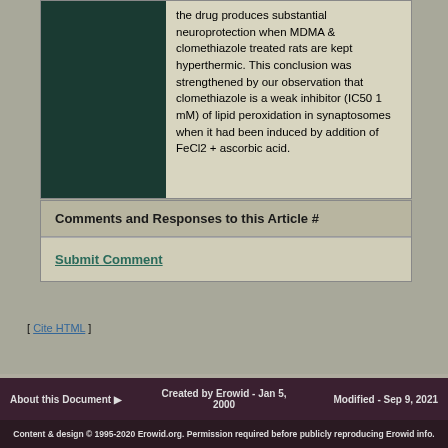the drug produces substantial neuroprotection when MDMA & clomethiazole treated rats are kept hyperthermic. This conclusion was strengthened by our observation that clomethiazole is a weak inhibitor (IC50 1 mM) of lipid peroxidation in synaptosomes when it had been induced by addition of FeCl2 + ascorbic acid.
Comments and Responses to this Article #
Submit Comment
[ Cite HTML ]
[ back to references ]
About this Document ▶ | Created by Erowid - Jan 5, 2000 | Modified - Sep 9, 2021
Content & design © 1995-2020 Erowid.org. Permission required before publicly reproducing Erowid info.